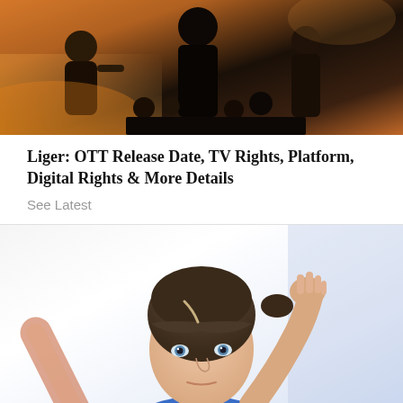[Figure (photo): Behind-the-scenes photo with people in warm orange-tinted light, silhouettes visible in a crowded indoor scene]
Liger: OTT Release Date, TV Rights, Platform, Digital Rights & More Details
See Latest
[Figure (photo): Woman in a blue top looking in a mirror and styling her hair with both hands raised to her head]